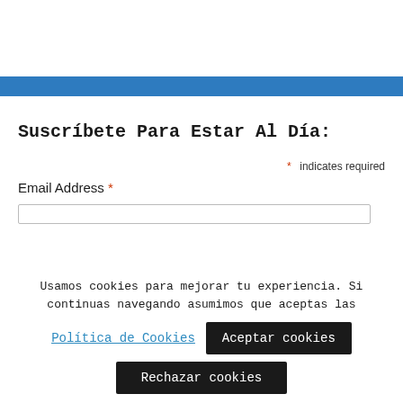[Figure (other): Blue horizontal banner bar across the page]
Suscríbete Para Estar Al Día:
* indicates required
Email Address *
Usamos cookies para mejorar tu experiencia. Si continuas navegando asumimos que aceptas las
Política de Cookies
Aceptar cookies
Rechazar cookies